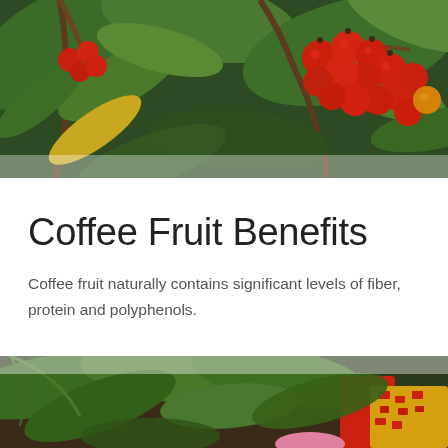[Figure (photo): Close-up photograph of red coffee cherries on a coffee plant branch with green leaves, viewed from below. Some unripe green berries also visible.]
Coffee Fruit Benefits
Coffee fruit naturally contains significant levels of fiber, protein and polyphenols.
[Figure (photo): Photograph of a coffee plantation ground level showing large green leaves, soil with coffee beans, and colorful fabric (red and yellow patterned) visible at the right side.]